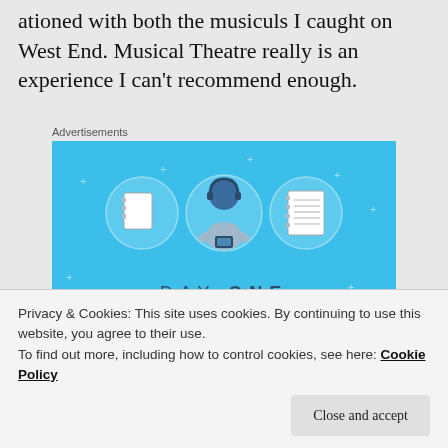…ationed with both the musiculs I caught on West End. Musical Theatre really is an experience I can't recommend enough.
[Figure (illustration): Day One journaling app advertisement. Blue background with sparkle/plus decorations. Three circular icons at top showing a blank notebook, a person wearing headphones and holding a phone, and a lined notebook. Below is large text 'DAY ONE' in spaced letters, and subtitle 'The only journaling app you'll ever need.']
Privacy & Cookies: This site uses cookies. By continuing to use this website, you agree to their use.
To find out more, including how to control cookies, see here: Cookie Policy
Close and accept